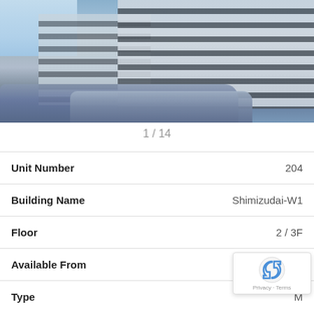[Figure (photo): Exterior photo of a multi-story building with horizontal stripe pattern (alternating light and dark bands), cars parked in the foreground, blue sky visible on the left side]
1 / 14
| Unit Number | 204 |
| Building Name | Shimizudai-W1 |
| Floor | 2 / 3F |
| Available From | Sep |
| Type | M |